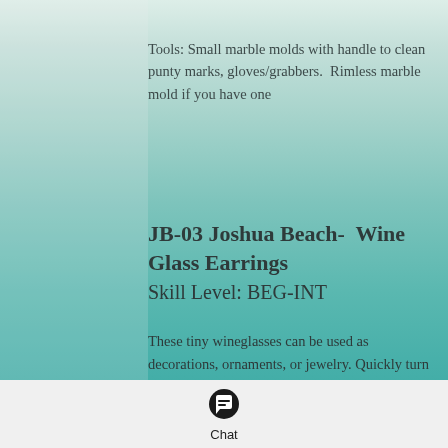Tools: Small marble molds with handle to clean punty marks, gloves/grabbers.  Rimless marble mold if you have one
JB-03 Joshua Beach-  Wine Glass Earrings
Skill Level: BEG-INT
These tiny wineglasses can be used as decorations, ornaments, or jewelry. Quickly turn small scraps of glass into fun gifts for the wine lovers of the world. After the glasses are in the kiln I'll show you how to tint and mix
[Figure (other): Chat button with speech bubble icon and 'Chat' label at the bottom of the page]